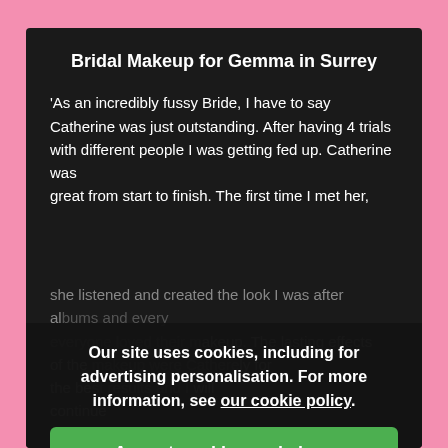Bridal Makeup for Gemma in Surrey
'As an incredibly fussy Bride, I have to say Catherine was just outstanding. After having 4 trials with different people I was getting fed up. Catherine was
great from start to finish. The first time I met her, she listened and created the look I was after al...
Our site uses cookies, including for advertising personalisation. For more information, see our cookie policy.
Accept cookies and close
Reject cookies
Manage settings